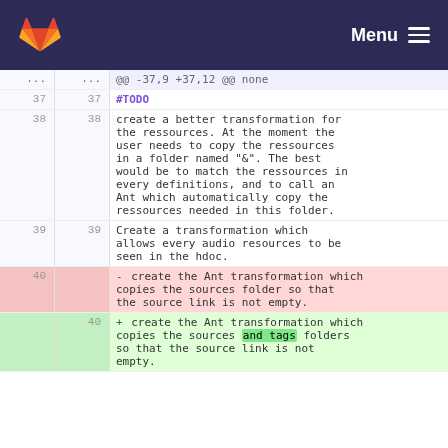Menu
| old | new | code |
| --- | --- | --- |
| ... | ... | @@ -37,9 +37,12 @@ none |
| 37 | 37 | #TODO |
| 38 | 38 | create a better transformation for the ressources. At the moment the user needs to copy the ressources in a folder named "&". The best would be to match the ressources in every definitions, and to call an Ant which automatically copy the ressources needed in this folder. |
| 39 | 39 | Create a transformation which allows every audio resources to be seen in the hdoc. |
| 40 |  | - create the Ant transformation which copies the sources folder so that the source link is not empty. |
|  | 40 | + create the Ant transformation which copies the sources and tags folders so that the source link is not empty. |